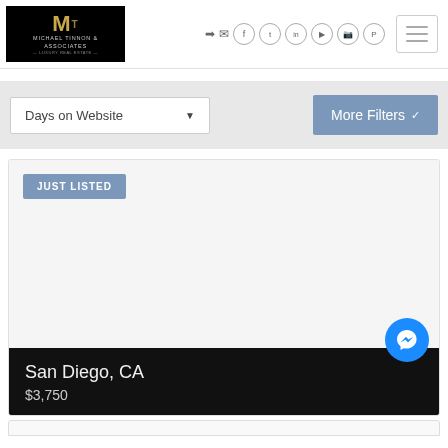[Figure (logo): Michael Tinnon & Associates luxury real estate logo, black background with gold M letter]
[Figure (infographic): Navigation icons: login, email, Facebook, Twitter, LinkedIn, YouTube, Instagram, Pinterest circles and hamburger menu button]
Days on Website
More Filters
JUST LISTED
San Diego, CA
$3,750